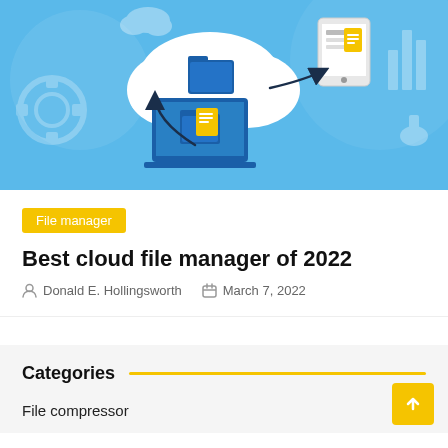[Figure (illustration): Cloud file manager illustration on blue background showing a cloud with a folder, a laptop with file being transferred, a tablet/phone with document, and curved arrows indicating file syncing between devices]
File manager
Best cloud file manager of 2022
Donald E. Hollingsworth   March 7, 2022
Categories
File compressor